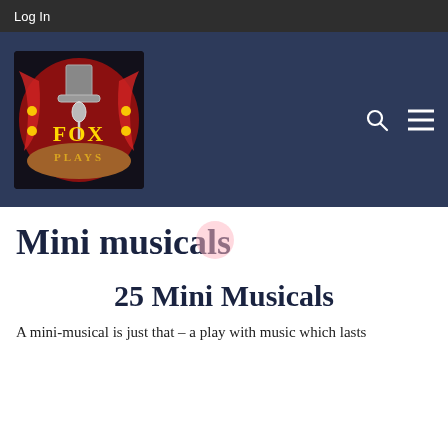Log In
[Figure (logo): Fox Plays logo: circular logo with theatrical curtain background, top hat microphone, and text 'FOX PLAYS' in gold letters]
Mini musicals
25 Mini Musicals
A mini-musical is just that – a play with music which lasts